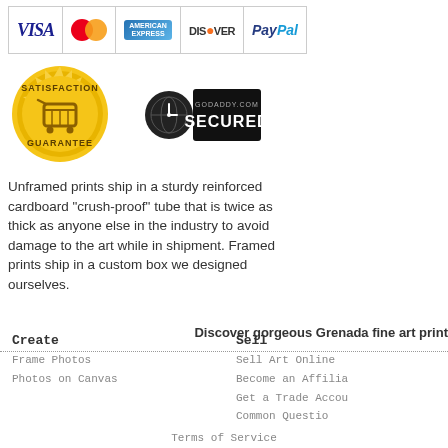[Figure (other): Payment method icons: VISA, Mastercard, American Express, Discover, PayPal]
[Figure (other): Satisfaction Guarantee badge (gold seal) and GoDaddy.com Secured badge]
Unframed prints ship in a sturdy reinforced cardboard "crush-proof" tube that is twice as thick as anyone else in the industry to avoid damage to the art while in shipment. Framed prints ship in a custom box we designed ourselves.
Discover gorgeous Grenada fine art print
Create
Frame Photos
Photos on Canvas
Sell
Sell Art Online
Become an Affilia
Get a Trade Accou
Common Questio
Terms of Service